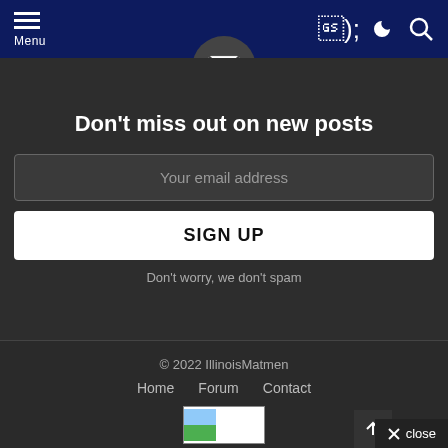Menu
[Figure (illustration): Email envelope icon inside a circular badge, partially visible at the top]
Don't miss out on new posts
Your email address
SIGN UP
Don't worry, we don't spam
© 2022 IllinoisMatmen
Home   Forum   Contact
[Figure (logo): Small site logo image partially visible in footer]
close